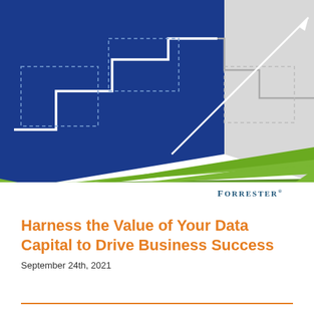[Figure (illustration): Abstract cover graphic with dark blue parallelogram block on the left containing white zigzag/step lines, and light gray triangular block on the right with dotted step lines, with a green diagonal stripe running diagonally from lower left to right across the composition, and a white upward-trending arrow in the upper right]
FORRESTER®
Harness the Value of Your Data Capital to Drive Business Success
September 24th, 2021